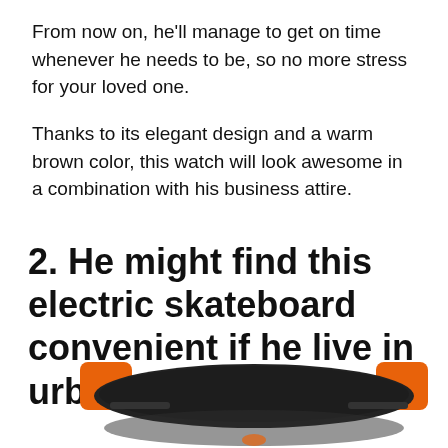From now on, he'll manage to get on time whenever he needs to be, so no more stress for your loved one.
Thanks to its elegant design and a warm brown color, this watch will look awesome in a combination with his business attire.
2. He might find this electric skateboard convenient if he live in urban area
[Figure (photo): An electric longboard skateboard viewed from above/behind, showing dark grip-tape deck with orange wheels on both trucks.]